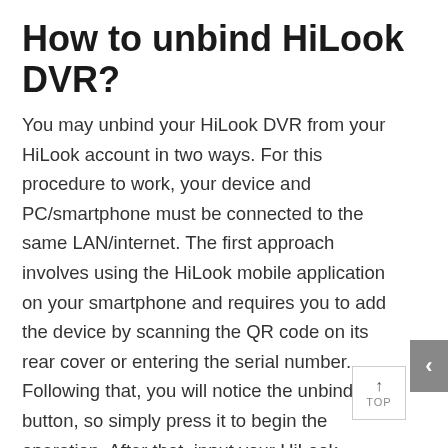How to unbind HiLook DVR?
You may unbind your HiLook DVR from your HiLook account in two ways. For this procedure to work, your device and PC/smartphone must be connected to the same LAN/internet. The first approach involves using the HiLook mobile application on your smartphone and requires you to add the device by scanning the QR code on its rear cover or entering the serial number. Following that, you will notice the unbind button, so simply press it to begin the operation. After that, input your HiLook DVR's password and press the "Finish" button to finish the operation. The SADP tool is the second way to unbind your HiLook DVR from your HiLook account. To begin, download and install the most recent version of this programme on your computer. After that, use the SADP tool and refresh the page to look for your HiLook DVR on the same network. Thereafter, choose your device from the list and click "Unbind" on the top